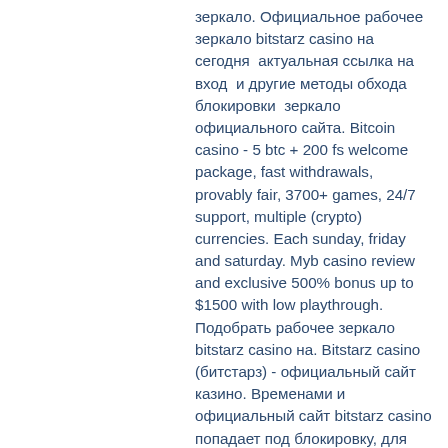зеркало. Официальное рабочее зеркало bitstarz casino на сегодня  актуальная ссылка на вход  и другие методы обхода блокировки  зеркало официального сайта. Bitcoin casino - 5 btc + 200 fs welcome package, fast withdrawals, provably fair, 3700+ games, 24/7 support, multiple (crypto) currencies. Each sunday, friday and saturday. Myb casino review and exclusive 500% bonus up to $1500 with low playthrough. Подобрать рабочее зеркало bitstarz casino на. Bitstarz casino (битстарз) - официальный сайт казино. Временами и официальный сайт bitstarz casino попадает под блокировку, для обхода существует рабочее зеркало казино битстарз которое доступно сегодня, благодаря. Рабочее зеркало казино bitstarz. Высокие рейтинги, хорошая отдача, никаких проблем с выводом! 1xbet - официальный сайт, зеркало рабочее на сегодня 1хбет. Cozginler araba oyunlari